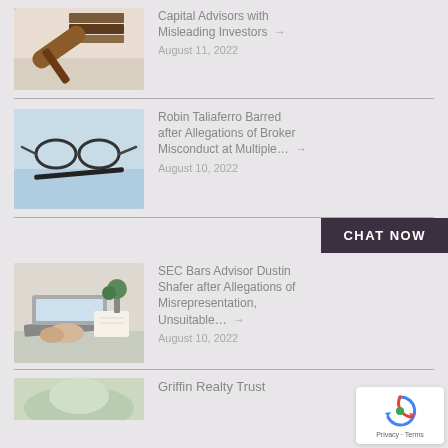[Figure (photo): Gavel and law books on white background]
Capital Advisors with Misleading Investors → August 11, 2022
[Figure (photo): Glasses and pen on documents, blue toned]
Robin Taliaferro Barred after Allegations of Broker Misconduct at Multiple… → August 10, 2022
CHAT NOW
[Figure (photo): Person at laptop with notebook and plant]
SEC Bars Advisor Dustin Shafer after Allegations of Misrepresentation, Unsuitable… → August 10, 2022
Griffin Realty Trust